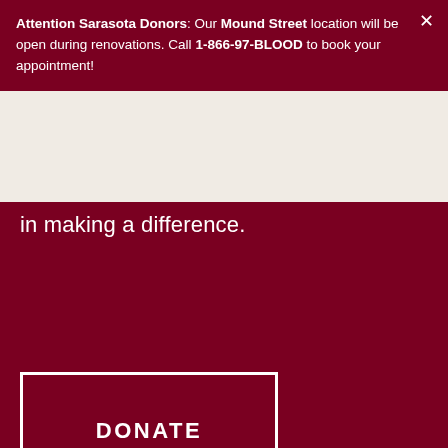Attention Sarasota Donors: Our Mound Street location will be open during renovations. Call 1-866-97-BLOOD to book your appointment!
in making a difference.
DONATE
You Can Make A Lifesaving Difference